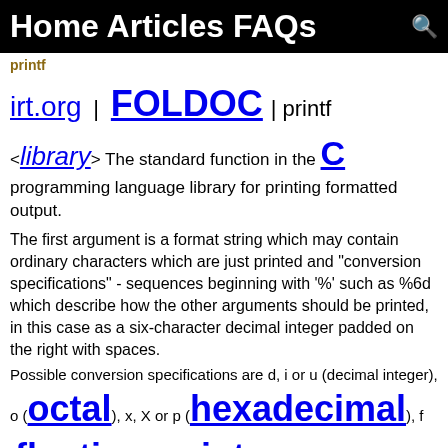Home Articles FAQs
printf
irt.org | FOLDOC | printf
<library> The standard function in the C programming language library for printing formatted output.
The first argument is a format string which may contain ordinary characters which are just printed and "conversion specifications" - sequences beginning with '%' such as %6d which describe how the other arguments should be printed, in this case as a six-character decimal integer padded on the right with spaces.
Possible conversion specifications are d, i or u (decimal integer), o (octal), x, X or p (hexadecimal), f (floating-point), e or E (mantissa and exponent, e.g. 1.23E-22), g or G (f or e format as